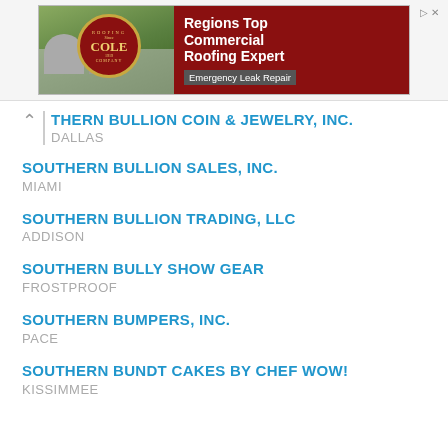[Figure (illustration): Advertisement banner for Cole Roofing Company - 'Regions Top Commercial Roofing Expert - Emergency Leak Repair']
THERN BULLION COIN & JEWELRY, INC.
DALLAS
SOUTHERN BULLION SALES, INC.
MIAMI
SOUTHERN BULLION TRADING, LLC
ADDISON
SOUTHERN BULLY SHOW GEAR
FROSTPROOF
SOUTHERN BUMPERS, INC.
PACE
SOUTHERN BUNDT CAKES BY CHEF WOW!
KISSIMMEE